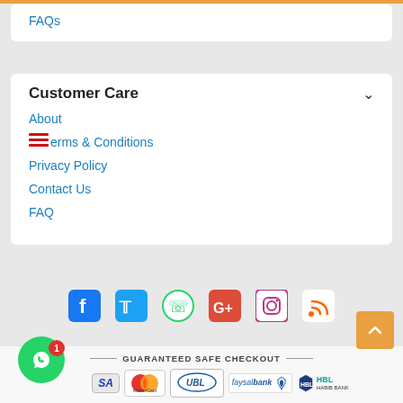FAQs
Customer Care
About
Terms & Conditions
Privacy Policy
Contact Us
FAQ
[Figure (infographic): Social media icons row: Facebook, Twitter, WhatsApp, Google+, Instagram, RSS feed]
[Figure (infographic): Guaranteed Safe Checkout banner with payment logos: VISA, MasterCard, UBL, faysalbank, HBL Habib Bank]